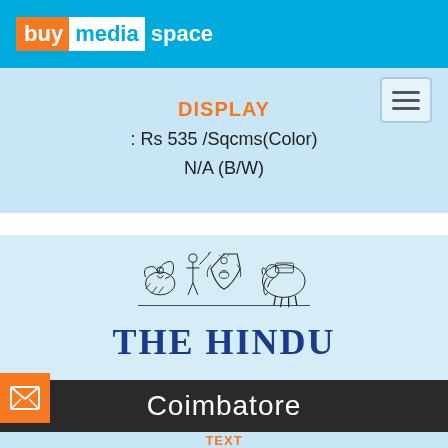[Figure (logo): buymediaspace logo with orange and white background on blue header bar]
DISPLAY
: Rs 535 /Sqcms(Color)
N/A (B/W)
[Figure (logo): The Hindu newspaper emblem/coat of arms with eagle, human figure, shield, and elephant]
THE HINDU
Coimbatore
TEXT
: Rs 640 /2 Lines
DISPLAY